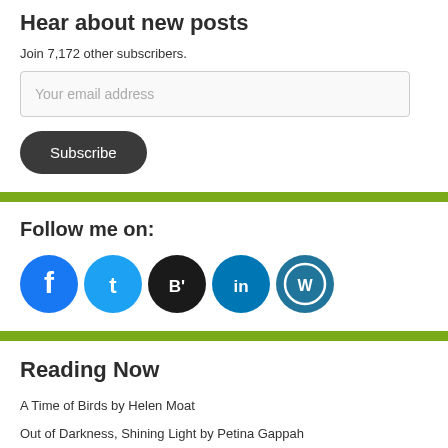Hear about new posts
Join 7,172 other subscribers.
Your email address
Subscribe
Follow me on:
[Figure (illustration): Social media icons: Facebook (blue), Twitter (light blue), Bloglovin (black with B'), LinkedIn (dark blue), WordPress (dark teal)]
Reading Now
A Time of Birds by Helen Moat
Out of Darkness, Shining Light by Petina Gappah
This Way to Depatures by Linda Mannheim